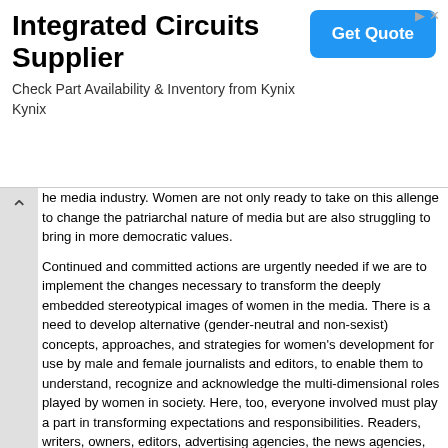[Figure (other): Advertisement banner for Integrated Circuits Supplier – Kynix. Includes title 'Integrated Circuits Supplier', subtitle 'Check Part Availability & Inventory from Kynix Kynix', and a blue 'Get Quote' button.]
he media industry. Women are not only ready to take on this allenge to change the patriarchal nature of media but are also struggling to bring in more democratic values. Continued and committed actions are urgently needed if we are to implement the changes necessary to transform the deeply embedded stereotypical images of women in the media. There is a need to develop alternative (gender-neutral and non-sexist) concepts, approaches, and strategies for women's development for use by male and female journalists and editors, to enable them to understand, recognize and acknowledge the multi-dimensional roles played by women in society. Here, too, everyone involved must play a part in transforming expectations and responsibilities. Readers, writers, owners, editors, advertising agencies, the news agencies, freelance reporters – everyone who is involved in the 2-way communication process must play a part in creating and maintaining a responsive environment, one in which social responsibilities are acknowledged, and a genuine discourse on women-related issues created.

As women working in communication, we see our role as one of ensuring that women's interests, aspirations and visions are honestly represented, and centrally located and disseminated. The minimal requirement is for unbiased and objective coverage, as we also hope for men: given the present dismal state of media coverage of women Pakistan, it is not asking too much to suggest that it be transformed